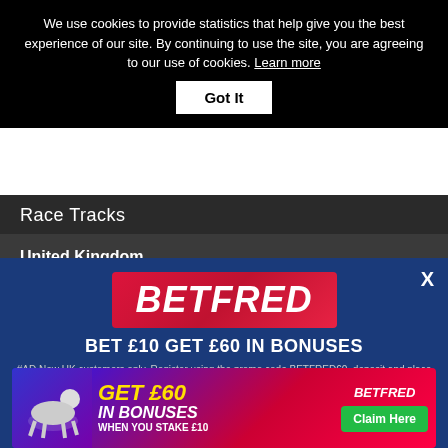We use cookies to provide statistics that help give you the best experience of our site. By continuing to use the site, you are agreeing to our use of cookies. Learn more
Got It
Race Tracks
United Kingdom
Belle Vue
Central Park
Crayford
Doncaster
[Figure (screenshot): Betfred advertisement popup with logo, offer text BET £10 GET £60 IN BONUSES, terms and conditions, and bottom banner ad saying GET £60 IN BONUSES WHEN YOU STAKE £10 with Claim Here button]